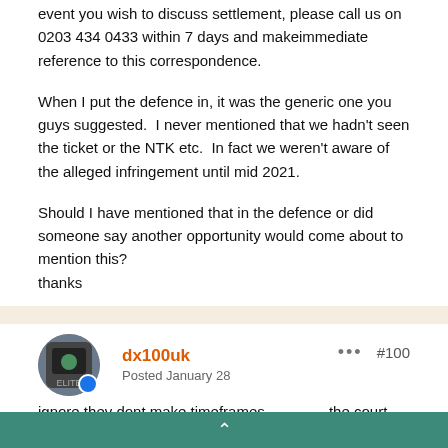event you wish to discuss settlement, please call us on 0203 434 0433 within 7 days and makeimmediate reference to this correspondence.
When I put the defence in, it was the generic one you guys suggested. I never mentioned that we hadn't seen the ticket or the NTK etc. In fact we weren't aware of the alleged infringement until mid 2021.
Should I have mentioned that in the defence or did someone say another opportunity would come about to mention this?
thanks
dx100uk
Posted January 28
#100
ignore they dont make timeframes …………the court does usual intimidation you should always ignore and already be aware of coming in by reading like PCN claimform threads.